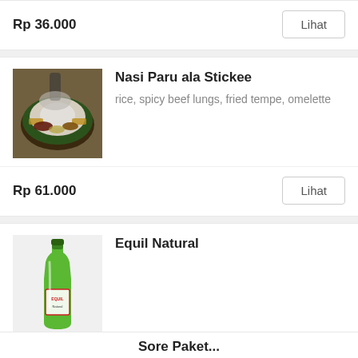Rp 36.000
Lihat
[Figure (photo): Photo of Nasi Paru ala Stickee dish — rice with beef lungs, fried tempe, omelette on a plate]
Nasi Paru ala Stickee
rice, spicy beef lungs, fried tempe, omelette
Rp 61.000
Lihat
[Figure (photo): Photo of Equil Natural mineral water bottle in green glass]
Equil Natural
Rp 24.000
Lihat
Sore Paket...